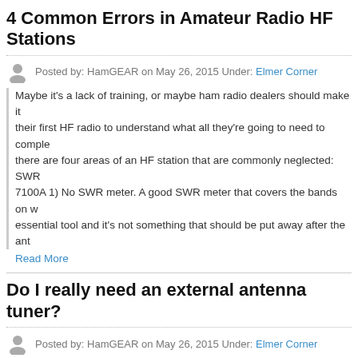4 Common Errors in Amateur Radio HF Stations
Posted by: HamGEAR on May 26, 2015 Under: Elmer Corner
Maybe it's a lack of training, or maybe ham radio dealers should make it their first HF radio to understand what all they're going to need to complete there are four areas of an HF station that are commonly neglected: SWR 7100A 1) No SWR meter. A good SWR meter that covers the bands on w essential tool and it's not something that should be put away after the ant
Read More
Do I really need an external antenna tuner?
Posted by: HamGEAR on May 26, 2015 Under: Elmer Corner
A lot of amateur radio operators question why they would want an external radio already has one built in? A better question might be, "Why do radio autotuner in the radio that will only tune an antenna that is already resona the specs on your $5,000 piece of cutting edge HF technology and you'll only tune antennas that have an SWR as high as 3:1. Heck, most...
Read More